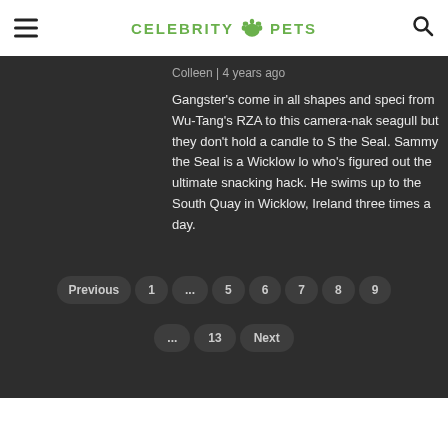CELEBRITY PETS
Colleen | 4 years ago
Gangster's come in all shapes and speci from Wu-Tang's RZA to this camera-nak seagull but they don't hold a candle to S the Seal. Sammy the Seal is a Wicklow lo who's figured out the ultimate snacking hack. He swims up to the South Quay in Wicklow, Ireland three times a day.
Previous
1
...
5
6
7
8
9
...
13
Next